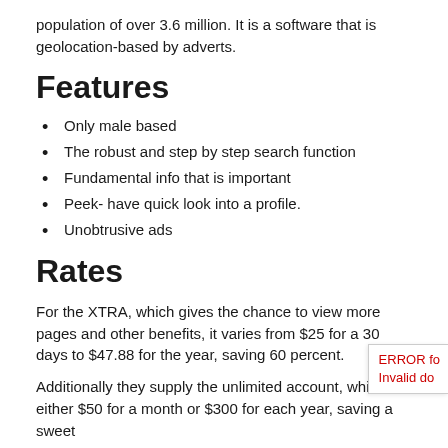population of over 3.6 million. It is a software that is geolocation-based by adverts.
Features
Only male based
The robust and step by step search function
Fundamental info that is important
Peek- have quick look into a profile.
Unobtrusive ads
Rates
For the XTRA, which gives the chance to view more pages and other benefits, it varies from $25 for a 30 days to $47.88 for the year, saving 60 percent.
Additionally they supply the unlimited account, which either $50 for a month or $300 for each year, saving a sweet